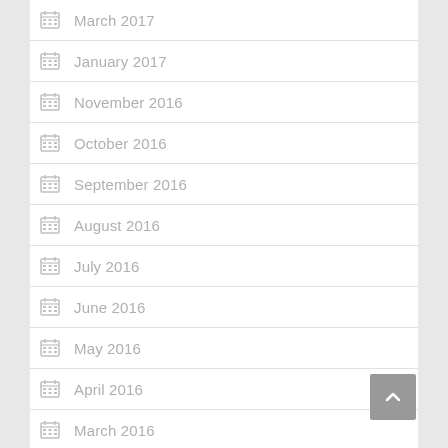March 2017
January 2017
November 2016
October 2016
September 2016
August 2016
July 2016
June 2016
May 2016
April 2016
March 2016
February 2016